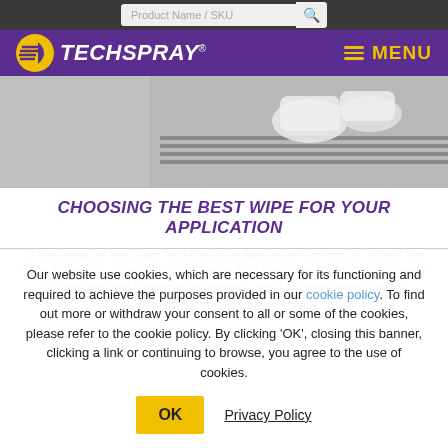Product Name / SKU [search bar]
TECHSPRAY® MENU
[Figure (photo): Person in white gloves and lab coat working with electronic/industrial equipment on a conveyor or work surface]
CHOOSING THE BEST WIPE FOR YOUR APPLICATION
In choosing the best wipe for a particular application we need to "match the wipe to the job". When choosing a wipe for a particular application you need to consider such factors as cleanliness, abrasion resistance, solvent compatibility, and absorbency. Wipe
Our website use cookies, which are necessary for its functioning and required to achieve the purposes provided in our cookie policy. To find out more or withdraw your consent to all or some of the cookies, please refer to the cookie policy. By clicking 'OK', closing this banner, clicking a link or continuing to browse, you agree to the use of cookies.
OK   Privacy Policy